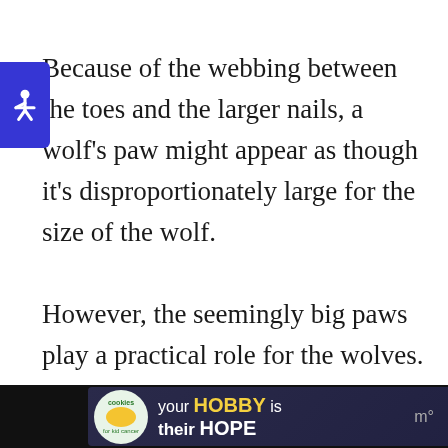Because of the webbing between the toes and the larger nails, a wolf's paw might appear as though it's disproportionately large for the size of the wolf. However, the seemingly big paws play a practical role for the wolves.
[Figure (other): Accessibility widget button (blue square with wheelchair icon) overlaid on left side of page]
[Figure (other): Floating action buttons on right: heart/like button (blue circle with heart icon), count '1', and share button (blue circle with share icon)]
[Figure (other): Advertisement banner for Big Brothers Big Sisters: black background with logo on left, green text 'EMPOWER A KID IN YOUR COMMUNITY TODAY.' and 'Learn How' green button. Close X button top right.]
[Figure (other): Advertisement banner: cookies for kid cancer logo on left (round), text 'your HOBBY is their HOPE' in white and yellow on dark background. Close X button top right.]
m°